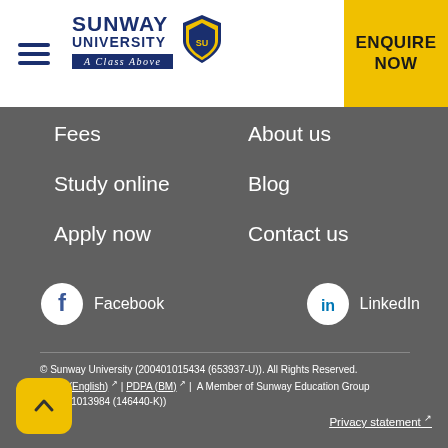Sunway University — A Class Above | ENQUIRE NOW
Fees
About us
Study online
Blog
Apply now
Contact us
[Figure (logo): Facebook circle icon with text 'Facebook']
[Figure (logo): LinkedIn circle icon with text 'LinkedIn']
© Sunway University (200401015434 (653937-U)). All Rights Reserved.
PDPA (English) | PDPA (BM) | A Member of Sunway Education Group (198501013984 (146440-K))
Privacy statement ↗